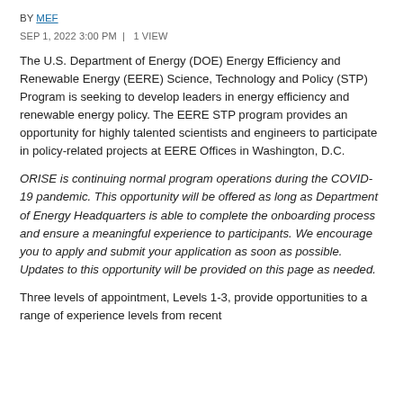BY MEF
SEP 1, 2022 3:00 PM  |  1 VIEW
The U.S. Department of Energy (DOE) Energy Efficiency and Renewable Energy (EERE) Science, Technology and Policy (STP) Program is seeking to develop leaders in energy efficiency and renewable energy policy. The EERE STP program provides an opportunity for highly talented scientists and engineers to participate in policy-related projects at EERE Offices in Washington, D.C.
ORISE is continuing normal program operations during the COVID-19 pandemic. This opportunity will be offered as long as Department of Energy Headquarters is able to complete the onboarding process and ensure a meaningful experience to participants. We encourage you to apply and submit your application as soon as possible.  Updates to this opportunity will be provided on this page as needed.
Three levels of appointment, Levels 1-3, provide opportunities to a range of experience levels from recent